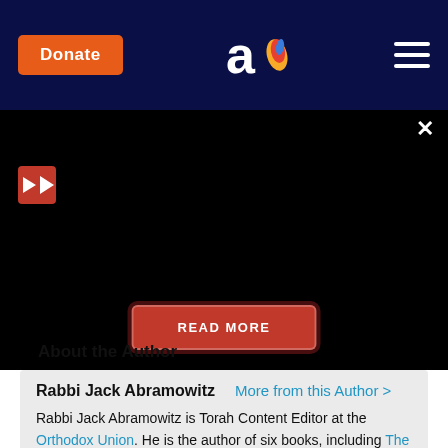Donate | [Aish logo] | [menu]
[Figure (screenshot): Dark video player area with red play button in top-left corner, close X button in top-right, and a red READ MORE button centered at the bottom]
About the Author
Rabbi Jack Abramowitz   More from this Author >
Rabbi Jack Abramowitz is Torah Content Editor at the Orthodox Union. He is the author of six books, including The God Book, available on Amazon.
Related Posts